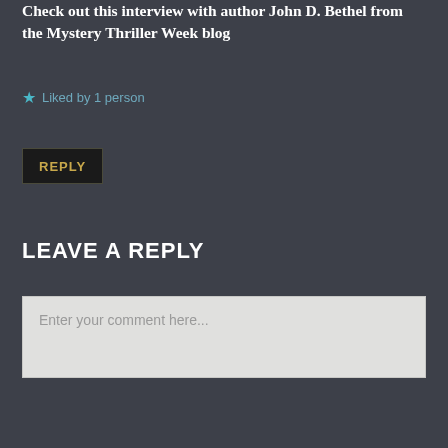Check out this interview with author John D. Bethel from the Mystery Thriller Week blog
★ Liked by 1 person
REPLY
LEAVE A REPLY
Enter your comment here...